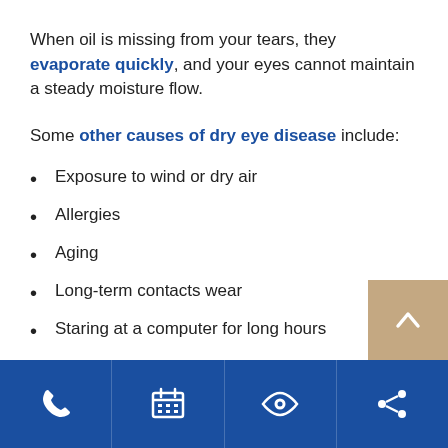When oil is missing from your tears, they evaporate quickly, and your eyes cannot maintain a steady moisture flow.
Some other causes of dry eye disease include:
Exposure to wind or dry air
Allergies
Aging
Long-term contacts wear
Staring at a computer for long hours
[Figure (other): Navigation footer bar with four icons: phone, calendar, eye, share. Also a beige back-to-top arrow button.]